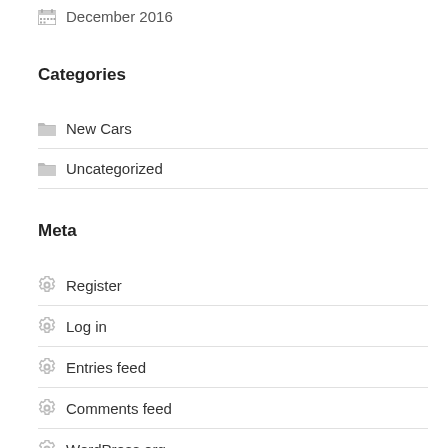December 2016
Categories
New Cars
Uncategorized
Meta
Register
Log in
Entries feed
Comments feed
WordPress.org